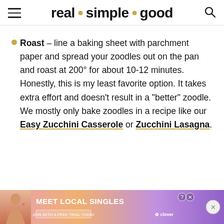real · simple · good
Roast – line a baking sheet with parchment paper and spread your zoodles out on the pan and roast at 200° for about 10-12 minutes. Honestly, this is my least favorite option. It takes extra effort and doesn't result in a "better" zoodle. We mostly only bake zoodles in a recipe like our Easy Zucchini Casserole or Zucchini Lasagna.
[Figure (photo): Advertisement banner: Meet Local Singles – Join with a free trial today – Clover app ad with a photo of a woman on a colorful gradient background]